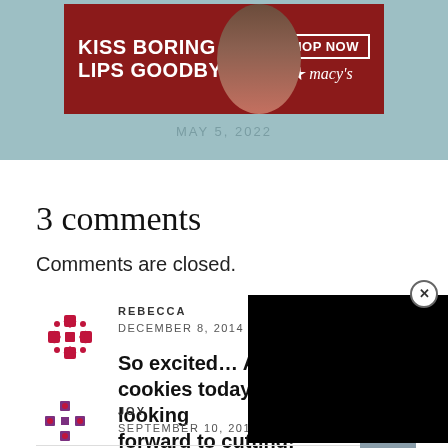[Figure (photo): Macy's advertisement banner with red background showing a woman's face with red lipstick, text 'KISS BORING LIPS GOODBYE' and 'SHOP NOW' button with Macy's logo, on a teal/sage green background with date MAY 5, 2022]
3 comments
Comments are closed.
REBECCA
DECEMBER 8, 2014
So excited... A cookies today, so I am looking forward to cutting!
JOY
SEPTEMBER 10, 2016 AT 10:35 AM